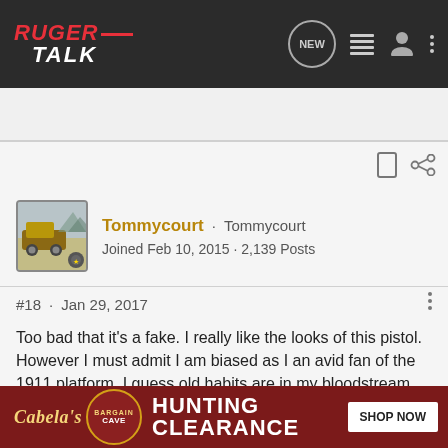RUGER TALK
Search Community
Tommycourt · Tommycourt
Joined Feb 10, 2015 · 2,139 Posts
#18 · Jan 29, 2017
Too bad that it's a fake. I really like the looks of this pistol. However I must admit I am biased as I an avid fan of the 1911 platform. I guess old habits are in my bloodstream and been there for many years. If Glock ever made one, I would look at it however I don't think they have any intention of doing it. It's okay tho
[Figure (screenshot): Cabela's Bargain Cave Hunting Clearance advertisement banner with 'SHOP NOW' button]